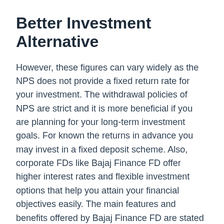Better Investment Alternative
However, these figures can vary widely as the NPS does not provide a fixed return rate for your investment. The withdrawal policies of NPS are strict and it is more beneficial if you are planning for your long-term investment goals. For known the returns in advance you may invest in a fixed deposit scheme. Also, corporate FDs like Bajaj Finance FD offer higher interest rates and flexible investment options that help you attain your financial objectives easily. The main features and benefits offered by Bajaj Finance FD are stated below:
Higher returns